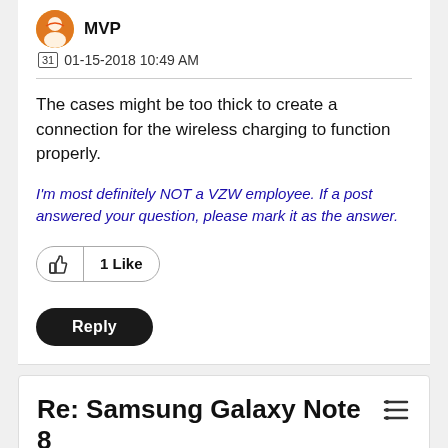MVP
01-15-2018 10:49 AM
The cases might be too thick to create a connection for the wireless charging to function properly.
I'm most definitely NOT a VZW employee. If a post answered your question, please mark it as the answer.
1 Like
Reply
Re: Samsung Galaxy Note 8 Wireless Charging Stopped